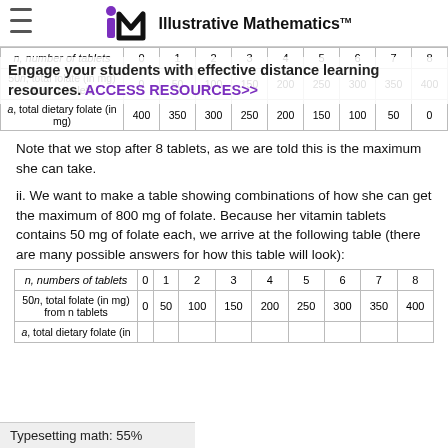Illustrative Mathematics
| n, number of tablets | 0 | 1 | 2 | 3 | 4 | 5 | 6 | 7 | 8 |
| --- | --- | --- | --- | --- | --- | --- | --- | --- | --- |
| 50n, total folate (in mg) from n tablets | 0 | 50 | 100 | 150 | 200 | 250 | 300 | 350 | 400 |
| a, total dietary folate (in mg) | 400 | 350 | 300 | 250 | 200 | 150 | 100 | 50 | 0 |
Note that we stop after 8 tablets, as we are told this is the maximum she can take.
ii. We want to make a table showing combinations of how she can get the maximum of 800 mg of folate. Because her vitamin tablets contains 50 mg of folate each, we arrive at the following table (there are many possible answers for how this table will look):
| n, numbers of tablets | 0 | 1 | 2 | 3 | 4 | 5 | 6 | 7 | 8 |
| --- | --- | --- | --- | --- | --- | --- | --- | --- | --- |
| 50n, total folate (in mg) from n tablets | 0 | 50 | 100 | 150 | 200 | 250 | 300 | 350 | 400 |
| a, total dietary folate (in |  |  |  |  |  |  |  |  |  |
Typesetting math: 55%